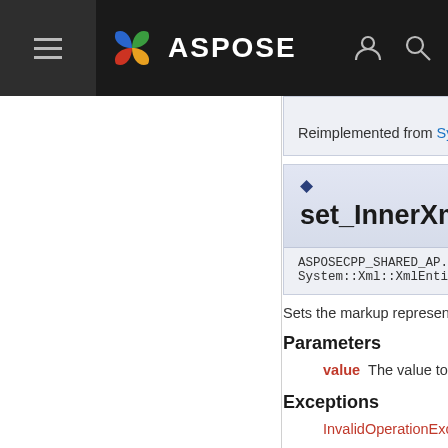ASPOSE — navigation header with hamburger menu, logo, user icon, search icon
InvalidOperationExce... (truncated, top of page cut off)
Reimplemented from System...
set_InnerXml()
ASPOSECPP_SHARED_AP... System::Xml::XmlEntity::set_...
Sets the markup representin...
Parameters
value The value to se...
Exceptions
InvalidOperationExce...